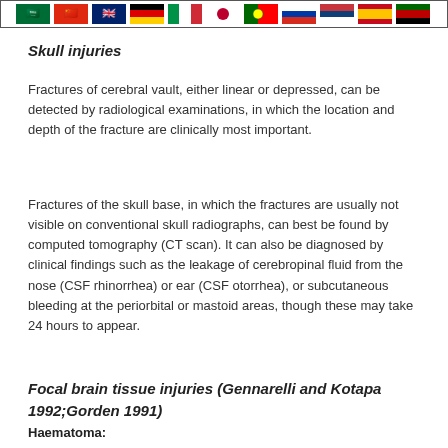[Figure (other): Row of country flags inside a bordered box: Saudi Arabia, China, United Kingdom, Germany, Italy, Japan, Portugal, Russia, Serbia, Spain, Kenya]
Skull injuries
Fractures of cerebral vault, either linear or depressed, can be detected by radiological examinations, in which the location and depth of the fracture are clinically most important.
Fractures of the skull base, in which the fractures are usually not visible on conventional skull radiographs, can best be found by computed tomography (CT scan). It can also be diagnosed by clinical findings such as the leakage of cerebropinal fluid from the nose (CSF rhinorrhea) or ear (CSF otorrhea), or subcutaneous bleeding at the periorbital or mastoid areas, though these may take 24 hours to appear.
Focal brain tissue injuries (Gennarelli and Kotapa 1992;Gorden 1991)
Haematoma: